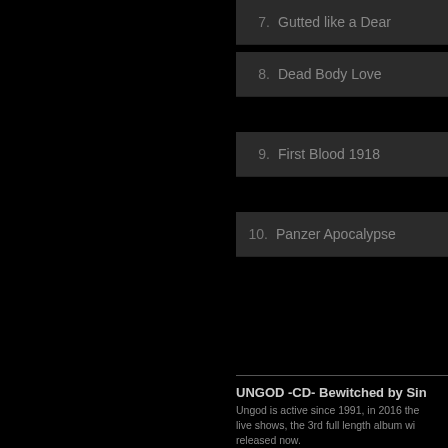7.  Gutted like a Dear
8.  Dead Body Love
9.  First Blood 1918
10. Panzer Apocalypse
UNGOD -CD- Bewitched by Sin
Ungod is active since 1991, in 2016 the live shows, the 3rd full length album wi released now.
[Figure (photo): Album cover art for UNGOD - Bewitched by Sin, featuring dark gothic imagery with serpents and a skull with horns, ornate logo lettering at top]